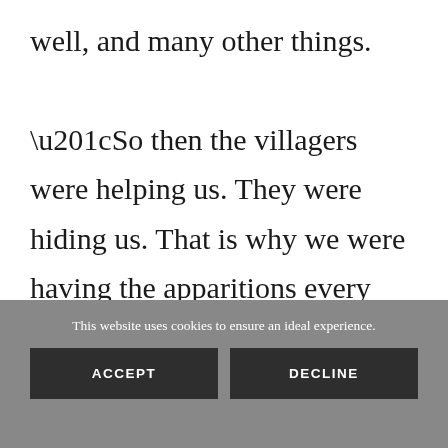well, and many other things.
“So then the villagers were helping us. They were hiding us. That is why we were having the apparitions every other night in a different spot. Such
This website uses cookies to ensure an ideal experience.
ACCEPT
DECLINE